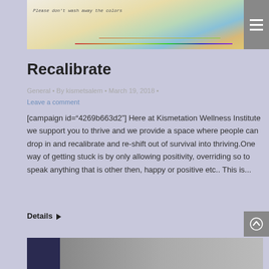[Figure (photo): Hand-drawn artwork with text 'Please don't wash away the colors' and colorful landscape sketch. Menu icon (hamburger) button on the right.]
Recalibrate
General • By kismetsalem • March 19, 2018 •
Leave a comment
[campaign id="4269b663d2"] Here at Kismetation Wellness Institute we support you to thrive and we provide a space where people can drop in and recalibrate and re-shift out of survival into thriving.One way of getting stuck is by only allowing positivity, overriding so to speak anything that is other then, happy or positive etc.. This is...
Details ▶
[Figure (photo): Bottom strip showing partial image with dark blue/purple section on the left.]